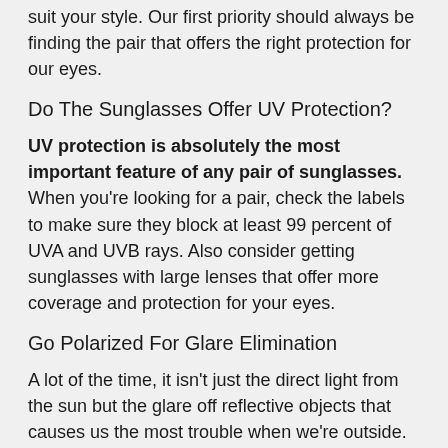suit your style. Our first priority should always be finding the pair that offers the right protection for our eyes.
Do The Sunglasses Offer UV Protection?
UV protection is absolutely the most important feature of any pair of sunglasses. When you're looking for a pair, check the labels to make sure they block at least 99 percent of UVA and UVB rays. Also consider getting sunglasses with large lenses that offer more coverage and protection for your eyes.
Go Polarized For Glare Elimination
A lot of the time, it isn't just the direct light from the sun but the glare off reflective objects that causes us the most trouble when we're outside. Car windshields and the surface of water and snow are particularly big culprits. Luckily, modern